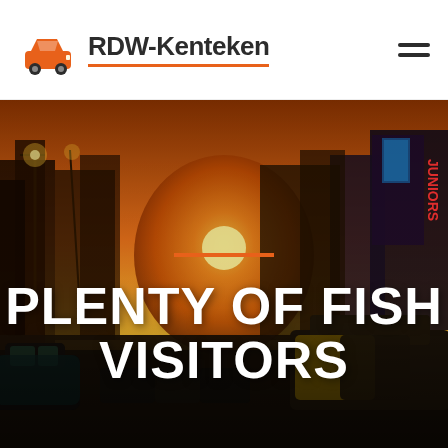RDW-Kenteken
[Figure (photo): City street scene at golden hour/sunset with cars in traffic, tall buildings with neon signs, warm orange sky. Urban environment with multiple vehicles visible.]
PLENTY OF FISH VISITORS